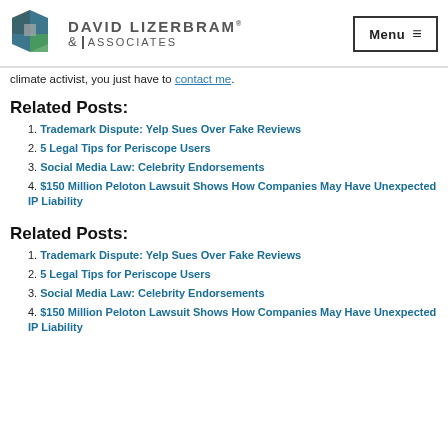David Lizerbram & Associates — Menu
climate activist, you just have to contact me.
Related Posts:
1. Trademark Dispute: Yelp Sues Over Fake Reviews
2. 5 Legal Tips for Periscope Users
3. Social Media Law: Celebrity Endorsements
4. $150 Million Peloton Lawsuit Shows How Companies May Have Unexpected IP Liability
Related Posts:
1. Trademark Dispute: Yelp Sues Over Fake Reviews
2. 5 Legal Tips for Periscope Users
3. Social Media Law: Celebrity Endorsements
4. $150 Million Peloton Lawsuit Shows How Companies May Have Unexpected IP Liability